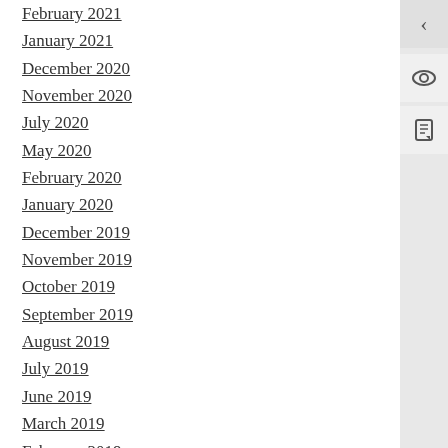February 2021
January 2021
December 2020
November 2020
July 2020
May 2020
February 2020
January 2020
December 2019
November 2019
October 2019
September 2019
August 2019
July 2019
June 2019
March 2019
February 2019
January 2019
December 2018
October 2018
August 2018